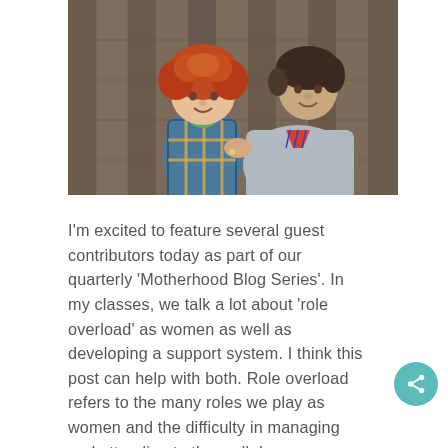[Figure (photo): A woman with dark hair kneeling behind a young child with curly red hair. Both are smiling at the camera. The child is wearing a plaid shirt and the woman is wearing a gray sweater with a plaid collar. Background is a wooden fence.]
I'm excited to feature several guest contributors today as part of our quarterly 'Motherhood Blog Series'.  In my classes, we talk a lot about 'role overload' as women as well as developing a support system.  I think this post can help with both.  Role overload refers to the many roles we play as women and the difficulty in managing and attending to them all.  I